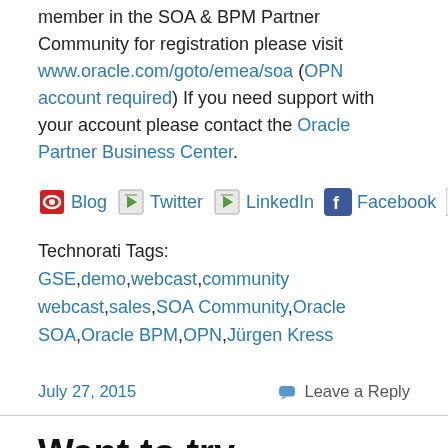member in the SOA & BPM Partner Community for registration please visit www.oracle.com/goto/emea/soa (OPN account required) If you need support with your account please contact the Oracle Partner Business Center.
Blog  Twitter  LinkedIn  Facebook  Wiki
Technorati Tags: GSE,demo,webcast,community webcast,sales,SOA Community,Oracle SOA,Oracle BPM,OPN,Jürgen Kress
July 27, 2015    Leave a Reply
Want to try Integration Cloud Service & Process Cloud